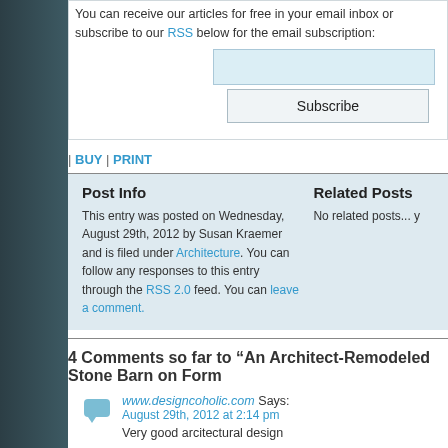You can receive our articles for free in your email inbox or subscribe to our RSS below for the email subscription:
Subscribe
| BUY | PRINT
Post Info
Related Posts
This entry was posted on Wednesday, August 29th, 2012 by Susan Kraemer and is filed under Architecture. You can follow any responses to this entry through the RSS 2.0 feed. You can leave a comment.
No related posts... y
4 Comments so far to “An Architect-Remodeled Stone Barn on Form
www.designcoholic.com Says:
August 29th, 2012 at 2:14 pm
Very good arcitectural design
Jamie Herzlinger Says:
August 29th, 2012 at 2:26 pm